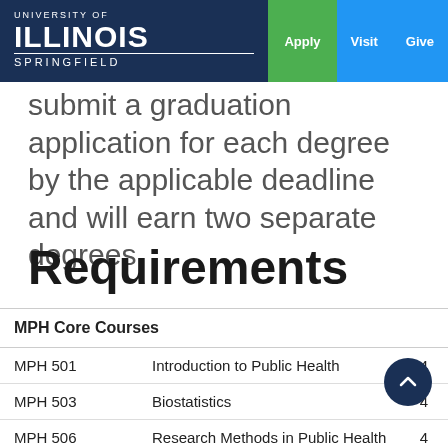University of Illinois Springfield | Apply | Visit | Give
submit a graduation application for each degree by the applicable deadline and will earn two separate degrees.
Requirements
| MPH Core Courses |  |  |
| --- | --- | --- |
| MPH 501 | Introduction to Public Health | 4 |
| MPH 503 | Biostatistics | 4 |
| MPH 506 | Research Methods in Public Health | 4 |
| MPH 511 | Epidemiology | 4 |